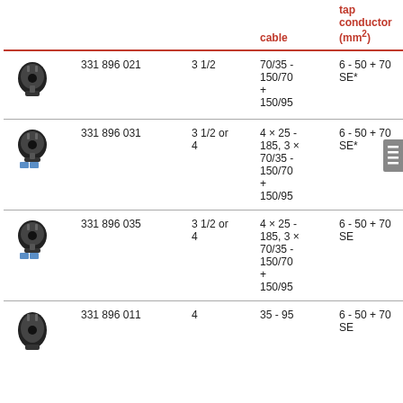|  |  |  | cable | tap conductor (mm²) |
| --- | --- | --- | --- | --- |
| [image] | 331 896 021 | 3 1/2 | 70/35 - 150/70 + 150/95 | 6 - 50 + 70 SE* |
| [image] | 331 896 031 | 3 1/2 or 4 | 4 x 25 - 185, 3 x 70/35 - 150/70 + 150/95 | 6 - 50 + 70 SE* |
| [image] | 331 896 035 | 3 1/2 or 4 | 4 x 25 - 185, 3 x 70/35 - 150/70 + 150/95 | 6 - 50 + 70 SE |
| [image] | 331 896 011 | 4 | 35 - 95 | 6 - 50 + 70 SE |